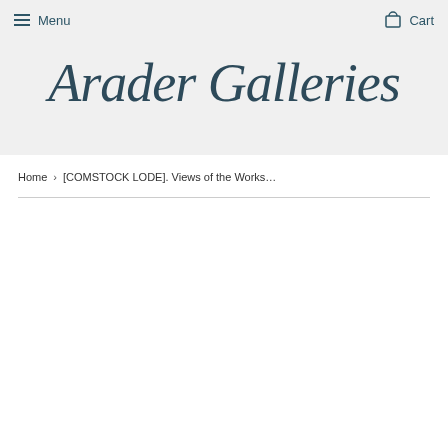Menu   Cart
Arader Galleries
Home › [COMSTOCK LODE]. Views of the Works…